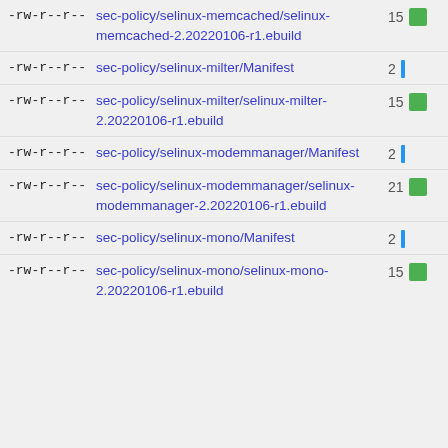-rw-r--r--  sec-policy/selinux-memcached/selinux-memcached-2.20220106-r1.ebuild  15
-rw-r--r--  sec-policy/selinux-milter/Manifest  2
-rw-r--r--  sec-policy/selinux-milter/selinux-milter-2.20220106-r1.ebuild  15
-rw-r--r--  sec-policy/selinux-modemmanager/Manifest  2
-rw-r--r--  sec-policy/selinux-modemmanager/selinux-modemmanager-2.20220106-r1.ebuild  21
-rw-r--r--  sec-policy/selinux-mono/Manifest  2
-rw-r--r--  sec-policy/selinux-mono/selinux-mono-2.20220106-r1.ebuild  15